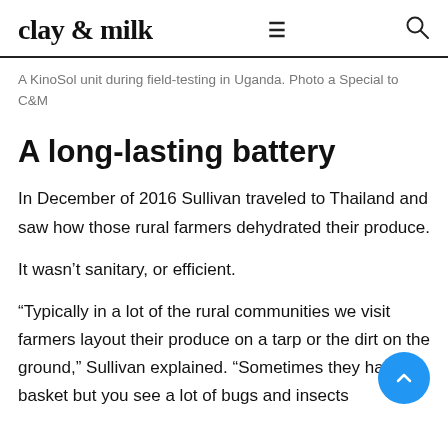clay & milk
A KinoSol unit during field-testing in Uganda. Photo a Special to C&M
A long-lasting battery
In December of 2016 Sullivan traveled to Thailand and saw how those rural farmers dehydrated their produce.
It wasn't sanitary, or efficient.
“Typically in a lot of the rural communities we visit farmers layout their produce on a tarp or the dirt on the ground,” Sullivan explained. “Sometimes they have a basket but you see a lot of bugs and insects